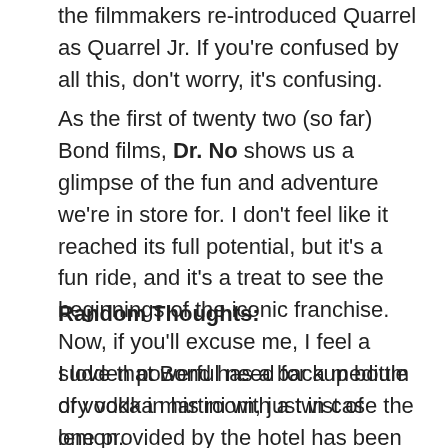the filmmakers re-introduced Quarrel as Quarrel Jr.  If you're confused by all this, don't worry, it's confusing.
As the first of twenty two (so far) Bond films, Dr. No shows us a glimpse of the fun and adventure we're in store for.  I don't feel like it reached its full potential, but it's a fun ride, and it's a treat to see the beginnings of the iconic franchise.  Now, if you'll excuse me, I feel a sudden powerful need for a medium dry vodka martini with a twist of lemon.
Random Thoughts:
I love that Bond has a backup bottle of vodka in his room, just in case the one provided by the hotel has been poisoned.  Good rule for all of us to live by.